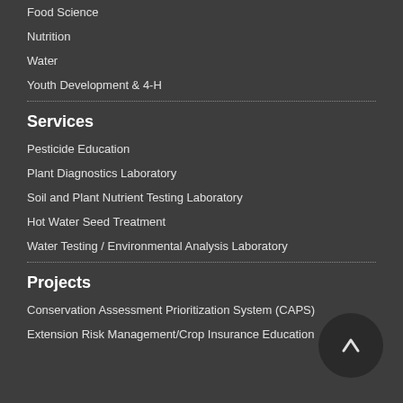Food Science
Nutrition
Water
Youth Development & 4-H
Services
Pesticide Education
Plant Diagnostics Laboratory
Soil and Plant Nutrient Testing Laboratory
Hot Water Seed Treatment
Water Testing / Environmental Analysis Laboratory
Projects
Conservation Assessment Prioritization System (CAPS)
Extension Risk Management/Crop Insurance Education